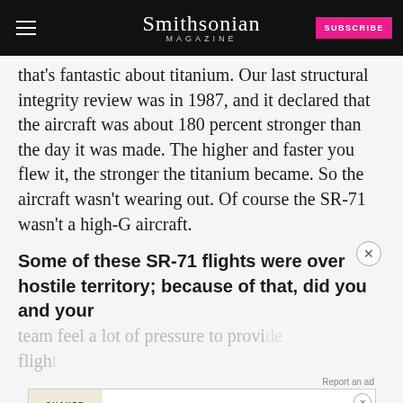Smithsonian MAGAZINE | SUBSCRIBE
that's fantastic about titanium. Our last structural integrity review was in 1987, and it declared that the aircraft was about 180 percent stronger than the day it was made. The higher and faster you flew it, the stronger the titanium became. So the aircraft wasn't wearing out. Of course the SR-71 wasn't a high-G aircraft.
Some of these SR-71 flights were over hostile territory; because of that, did you and your team feel a lot of pressure to provide flight
[Figure (other): Quaker Museum Day advertisement banner - YOU COULD WIN A MUSEUM FIELD TRIP TO D.C. LEARN MORE]